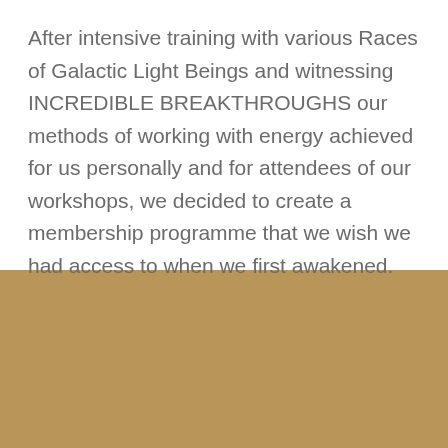After intensive training with various Races of Galactic Light Beings and witnessing INCREDIBLE BREAKTHROUGHS our methods of working with energy achieved for us personally and for attendees of our workshops, we decided to create a membership programme that we wish we had access to when we first awakened.
[Figure (illustration): A solid golden-brown colored rectangular band occupying the bottom portion of the page.]